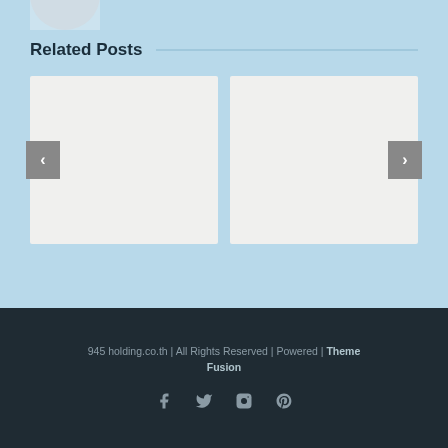[Figure (photo): Partial avatar/profile image at top left, cropped]
Related Posts
[Figure (photo): Left related post card placeholder image with back navigation arrow]
[Figure (photo): Right related post card placeholder image with forward navigation arrow]
945 holding.co.th | All Rights Reserved | Powered | Theme Fusion